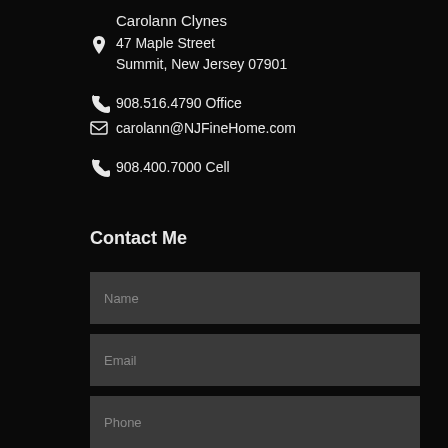Carolann Clynes
47 Maple Street
Summit, New Jersey 07901
908.516.4790 Office
carolann@NJFineHome.com
908.400.7000 Cell
Contact Me
Name
Email
Phone
Message